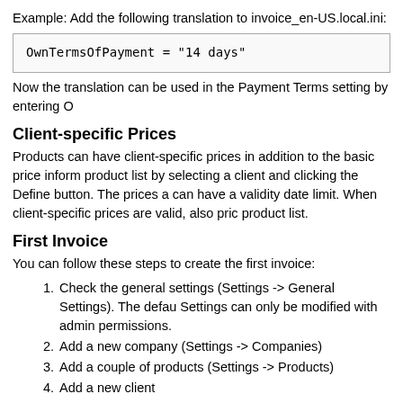Example: Add the following translation to invoice_en-US.local.ini:
OwnTermsOfPayment = "14 days"
Now the translation can be used in the Payment Terms setting by entering O
Client-specific Prices
Products can have client-specific prices in addition to the basic price inform product list by selecting a client and clicking the Define button. The prices a can have a validity date limit. When client-specific prices are valid, also pric product list.
First Invoice
You can follow these steps to create the first invoice:
Check the general settings (Settings -> General Settings). The defau Settings can only be modified with admin permissions.
Add a new company (Settings -> Companies)
Add a couple of products (Settings -> Products)
Add a new client
Add a new invoice, save it and add a couple of invoice rows
The invoice is now ready to be sent via email or saved as PDF
Handling Paid Invoices